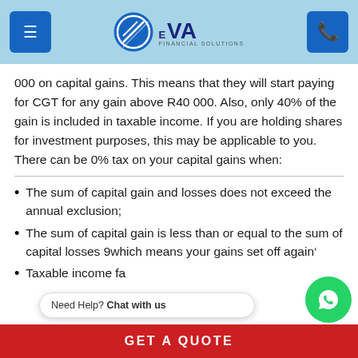EVA Financial Solutions – navigation header
000 on capital gains. This means that they will start paying for CGT for any gain above R40 000. Also, only 40% of the gain is included in taxable income. If you are holding shares for investment purposes, this may be applicable to you. There can be 0% tax on your capital gains when:
The sum of capital gain and losses does not exceed the annual exclusion;
The sum of capital gain is less than or equal to the sum of capital losses 9which means your gains set off again…
Taxable income fa… h…
GET A QUOTE